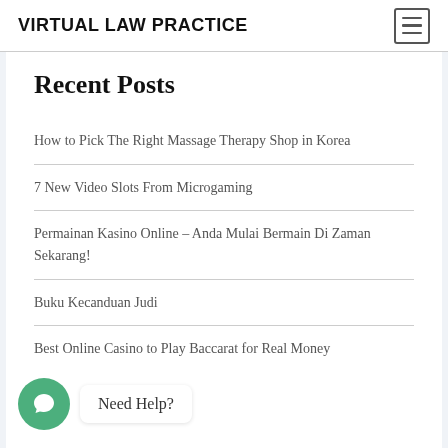VIRTUAL LAW PRACTICE
Recent Posts
How to Pick The Right Massage Therapy Shop in Korea
7 New Video Slots From Microgaming
Permainan Kasino Online – Anda Mulai Bermain Di Zaman Sekarang!
Buku Kecanduan Judi
Best Online Casino to Play Baccarat for Real Money
Need Help?